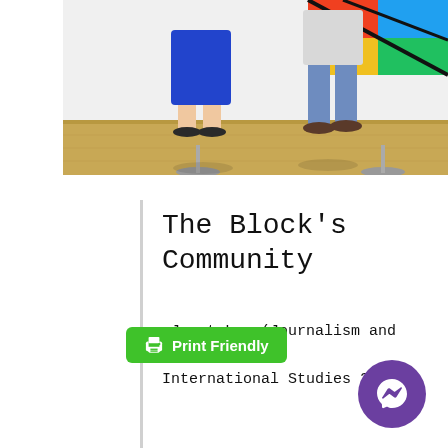[Figure (photo): Two people standing in a museum/gallery space. One person in a blue dress on the left, another in jeans on the right. Colorful abstract artwork visible on the wall behind them.]
The Block's Community
-Janet Lee (Journalism and International Studies 2020)
[Figure (other): Print Friendly green button with printer icon]
[Figure (other): Facebook Messenger purple circular icon button]